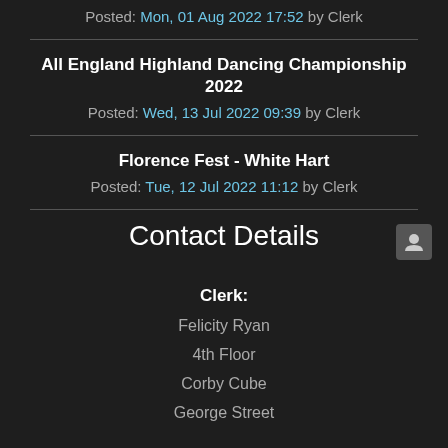Posted: Mon, 01 Aug 2022 17:52 by Clerk
All England Highland Dancing Championship 2022
Posted: Wed, 13 Jul 2022 09:39 by Clerk
Florence Fest - White Hart
Posted: Tue, 12 Jul 2022 11:12 by Clerk
Contact Details
Clerk:
Felicity Ryan
4th Floor
Corby Cube
George Street